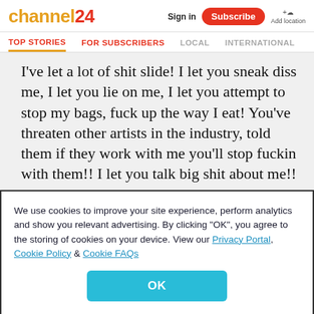channel24 | Sign in | Subscribe | Add location
TOP STORIES | FOR SUBSCRIBERS | LOCAL | INTERNATIONAL
I've let a lot of shit slide! I let you sneak diss me, I let you lie on me, I let you attempt to stop my bags, fuck up the way I eat! You've threaten other artists in the industry, told them if they work with me you'll stop fuckin with them!! I let you talk big shit about me!! I addressed you once in person, I addressed
We use cookies to improve your site experience, perform analytics and show you relevant advertising. By clicking "OK", you agree to the storing of cookies on your device. View our Privacy Portal, Cookie Policy & Cookie FAQs
OK